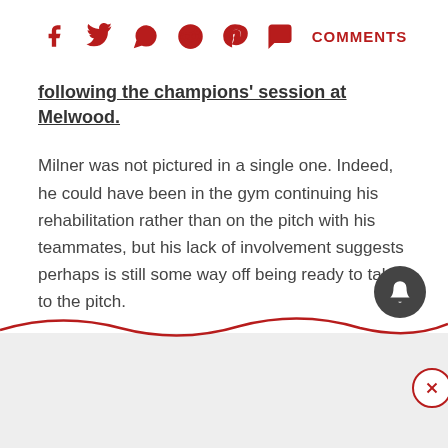[Figure (infographic): Social sharing icons row: Facebook, Twitter, WhatsApp, Reddit, Pinterest, Comments (speech bubble icon with COMMENTS label) — all in dark red]
following the champions' session at Melwood.
Milner was not pictured in a single one. Indeed, he could have been in the gym continuing his rehabilitation rather than on the pitch with his teammates, but his lack of involvement suggests perhaps is still some way off being ready to take to the pitch.